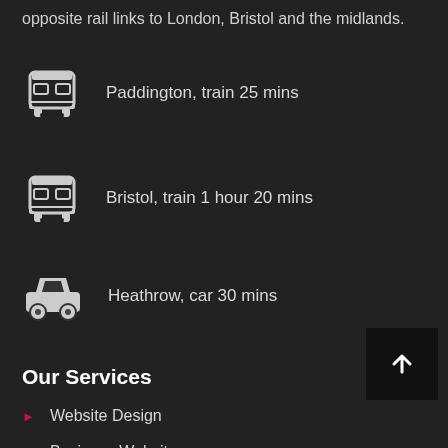opposite rail links to London, Bristol and the midlands.
Paddington, train 25 mins
Bristol, train 1 hour 20 mins
Heathrow, car 30 mins
Our Services
Website Design
Business Websites
Magento Ecommerce
Magento Packages
Search Engine Optimisation
AdWords Training